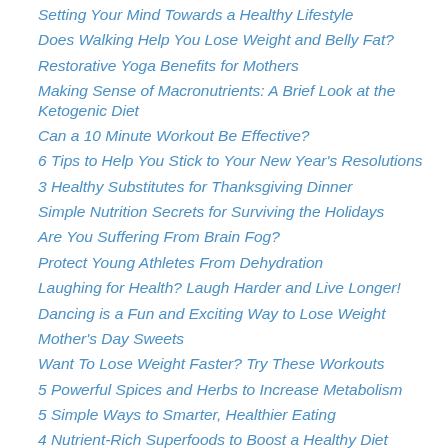Setting Your Mind Towards a Healthy Lifestyle
Does Walking Help You Lose Weight and Belly Fat?
Restorative Yoga Benefits for Mothers
Making Sense of Macronutrients: A Brief Look at the Ketogenic Diet
Can a 10 Minute Workout Be Effective?
6 Tips to Help You Stick to Your New Year's Resolutions
3 Healthy Substitutes for Thanksgiving Dinner
Simple Nutrition Secrets for Surviving the Holidays
Are You Suffering From Brain Fog?
Protect Young Athletes From Dehydration
Laughing for Health? Laugh Harder and Live Longer!
Dancing is a Fun and Exciting Way to Lose Weight
Mother's Day Sweets
Want To Lose Weight Faster? Try These Workouts
5 Powerful Spices and Herbs to Increase Metabolism
5 Simple Ways to Smarter, Healthier Eating
4 Nutrient-Rich Superfoods to Boost a Healthy Diet
Can Stress Sabotage Your Weight Loss Efforts?
Top Heart-Healthy Foods: Best Foods for Cardiovascular Health
3 Best Sources of Veggie Protein